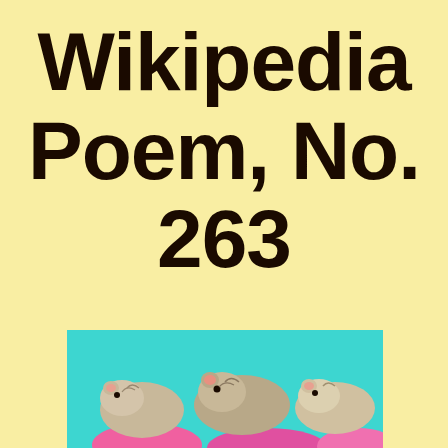Wikipedia Poem, No. 263
[Figure (photo): Photo of several hamsters on a turquoise/teal background with pink elements at the bottom, partially cropped at the bottom of the page.]